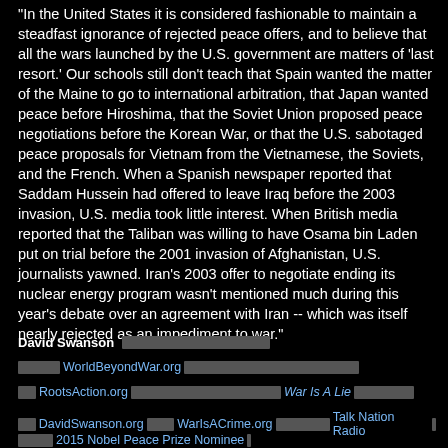"In the United States it is considered fashionable to maintain a steadfast ignorance of rejected peace offers, and to believe that all the wars launched by the U.S. government are matters of 'last resort.' Our schools still don't teach that Spain wanted the matter of the Maine to go to international arbitration, that Japan wanted peace before Hiroshima, that the Soviet Union proposed peace negotiations before the Korean War, or that the U.S. sabotaged peace proposals for Vietnam from the Vietnamese, the Soviets, and the French. When a Spanish newspaper reported that Saddam Hussein had offered to leave Iraq before the 2003 invasion, U.S. media took little interest. When British media reported that the Taliban was willing to have Osama bin Laden put on trial before the 2001 invasion of Afghanistan, U.S. journalists yawned. Iran's 2003 offer to negotiate ending its nuclear energy program wasn't mentioned much during this year's debate over an agreement with Iran -- which was itself nearly rejected as an impediment to war."
David Swanson [redacted bar]
[redacted] WorldBeyondWar.org [redacted]
[redacted] RootsAction.org [redacted] War Is A Lie [redacted]
[redacted] DavidSwanson.org [redacted] WarIsACrime.org [redacted] Talk Nation Radio [redacted]
[redacted] 2015 Nobel Peace Prize Nominee [redacted]